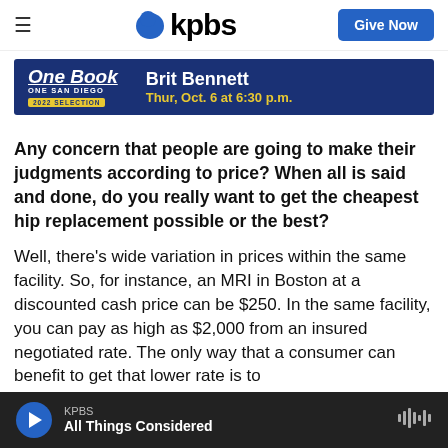kpbs — Give Now
[Figure (other): One Book One San Diego 2022 Selection banner featuring Brit Bennett, Thur, Oct. 6 at 6:30 p.m.]
Any concern that people are going to make their judgments according to price? When all is said and done, do you really want to get the cheapest hip replacement possible or the best?
Well, there's wide variation in prices within the same facility. So, for instance, an MRI in Boston at a discounted cash price can be $250. In the same facility, you can pay as high as $2,000 from an insured negotiated rate. The only way that a consumer can benefit to get that lower rate is to
KPBS — All Things Considered